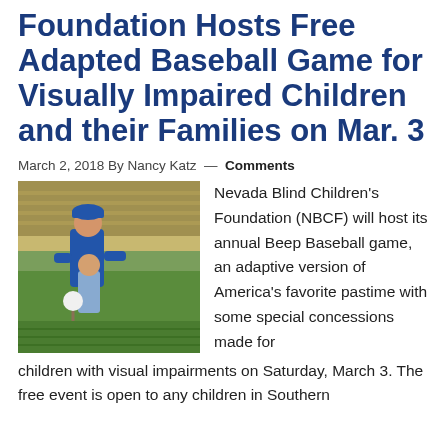Foundation Hosts Free Adapted Baseball Game for Visually Impaired Children and their Families on Mar. 3
March 2, 2018 By Nancy Katz — Comments
[Figure (photo): An adult in a blue baseball cap and blue shirt helps a child with a baseball bat on a baseball field, with green grass and stadium seating in the background.]
Nevada Blind Children's Foundation (NBCF) will host its annual Beep Baseball game, an adaptive version of America's favorite pastime with some special concessions made for children with visual impairments on Saturday, March 3. The free event is open to any children in Southern